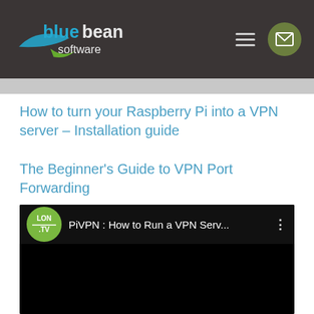bluebean software - navigation header with hamburger menu and envelope icon
How to turn your Raspberry Pi into a VPN server – Installation guide
The Beginner's Guide to VPN Port Forwarding
[Figure (screenshot): YouTube video thumbnail: PiVPN : How to Run a VPN Serv... by LON.TV channel, dark background]